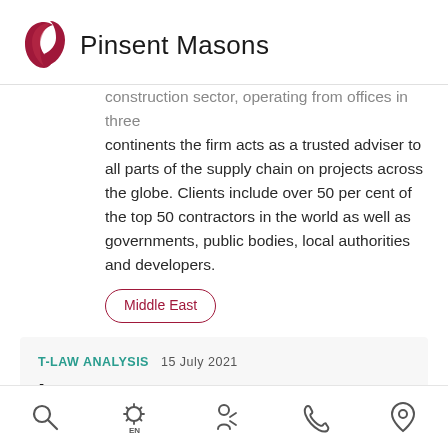[Figure (logo): Pinsent Masons logo with red teardrop/leaf icon and firm name]
construction sector, operating from offices in three continents the firm acts as a trusted adviser to all parts of the supply chain on projects across the globe. Clients include over 50 per cent of the top 50 contractors in the world as well as governments, public bodies, local authorities and developers.
Middle East
T-LAW ANALYSIS  15 July 2021
int venture partners need more than tech to
[Figure (other): Bottom navigation bar with search, settings (EN), person/ID, phone, and location icons]